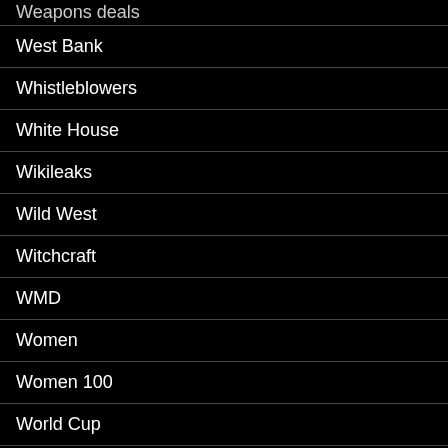Weapons deals
West Bank
Whistleblowers
White House
Wikileaks
Wild West
Witchcraft
WMD
Women
Women 100
World Cup
WTF
WWII